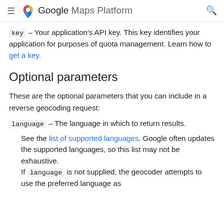Google Maps Platform
key – Your application's API key. This key identifies your application for purposes of quota management. Learn how to get a key.
Optional parameters
These are the optional parameters that you can include in a reverse geocoding request:
language – The language in which to return results.
See the list of supported languages. Google often updates the supported languages, so this list may not be exhaustive.
If language is not supplied, the geocoder attempts to use the preferred language as